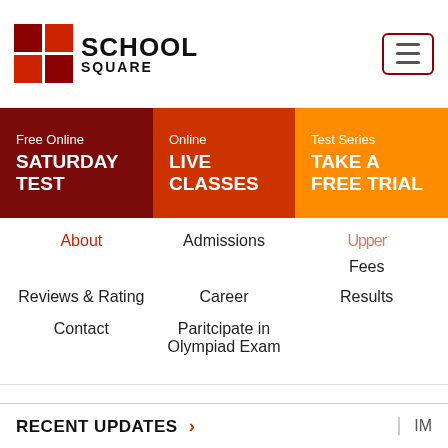[Figure (logo): School Square logo with red checkered squares and bold text SCHOOL SQUARE]
Free Online
SATURDAY TEST
Online
LIVE CLASSES
Test Series
TAKE A FREE TRIAL
About
Admissions
Upper (truncated)
Fees
Reviews & Rating
Career
Results
Contact
Paritcipate in Olympiad Exam
RECENT UPDATES
IM